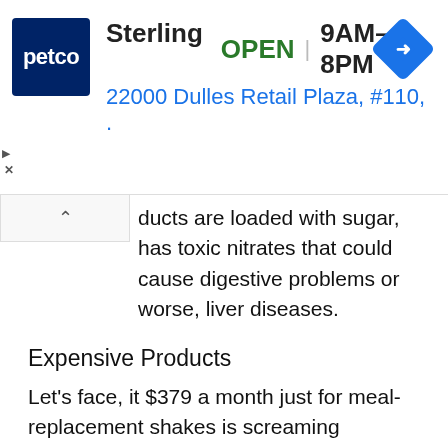[Figure (screenshot): Petco store ad banner showing Sterling location, OPEN 9AM–8PM, 22000 Dulles Retail Plaza, #110, with navigation diamond icon]
ducts are loaded with sugar, has toxic nitrates that could cause digestive problems or worse, liver diseases.
Expensive Products
Let's face, it $379 a month just for meal-replacement shakes is screaming “EXPENSIVE”.
There are better and cheaper ways you can do or purchase that may have the same quality and effects. If you're badly trying to